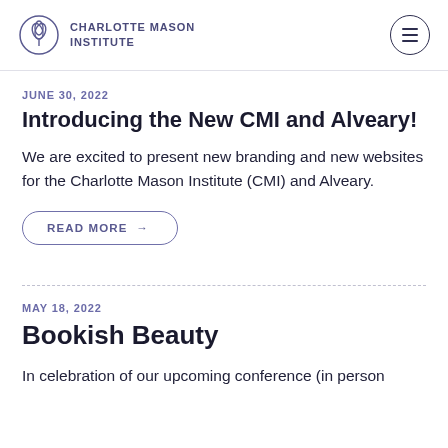CHARLOTTE MASON INSTITUTE
JUNE 30, 2022
Introducing the New CMI and Alveary!
We are excited to present new branding and new websites for the Charlotte Mason Institute (CMI) and Alveary.
READ MORE →
MAY 18, 2022
Bookish Beauty
In celebration of our upcoming conference (in person